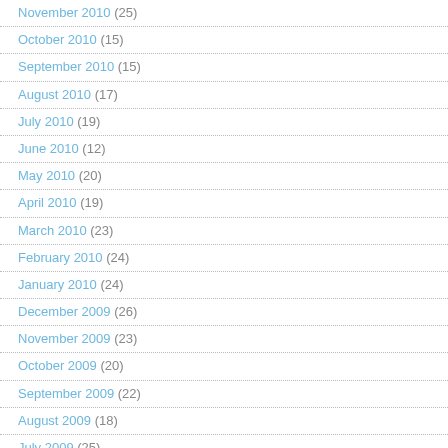November 2010 (25)
October 2010 (15)
September 2010 (15)
August 2010 (17)
July 2010 (19)
June 2010 (12)
May 2010 (20)
April 2010 (19)
March 2010 (23)
February 2010 (24)
January 2010 (24)
December 2009 (26)
November 2009 (23)
October 2009 (20)
September 2009 (22)
August 2009 (18)
July 2009 (25)
June 2009 (22)
May 2009 (25)
April 2009 (17)